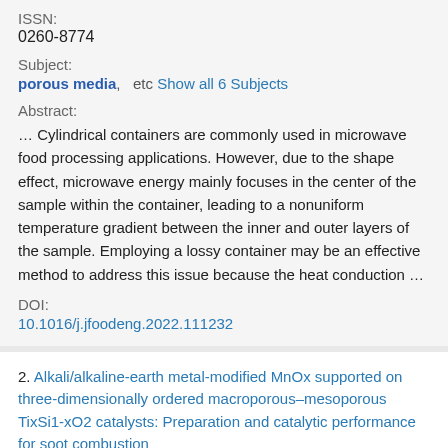ISSN:
0260-8774
Subject:
porous media,   etc  Show all 6 Subjects
Abstract:
… Cylindrical containers are commonly used in microwave food processing applications. However, due to the shape effect, microwave energy mainly focuses in the center of the sample within the container, leading to a nonuniform temperature gradient between the inner and outer layers of the sample. Employing a lossy container may be an effective method to address this issue because the heat conduction …
DOI:
10.1016/j.jfoodeng.2022.111232
2. Alkali/alkaline-earth metal-modified MnOx supported on three-dimensionally ordered macroporous–mesoporous TixSi1-xO2 catalysts: Preparation and catalytic performance for soot combustion